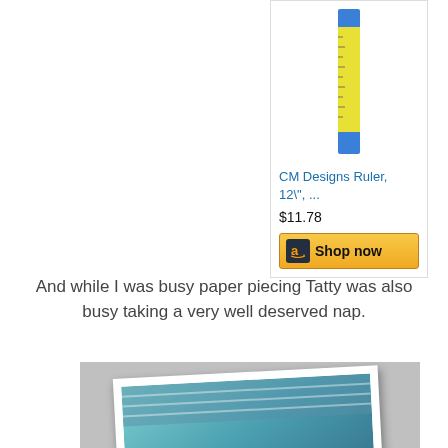[Figure (screenshot): Amazon product card showing CM Designs Ruler 12" with price $11.78 and Shop now button]
And while I was busy paper piecing Tatty was also busy taking a very well deserved nap.
[Figure (photo): Polaroid-style photo of a fluffy white cat (Tatty) taking a nap on what appears to be a striped surface]